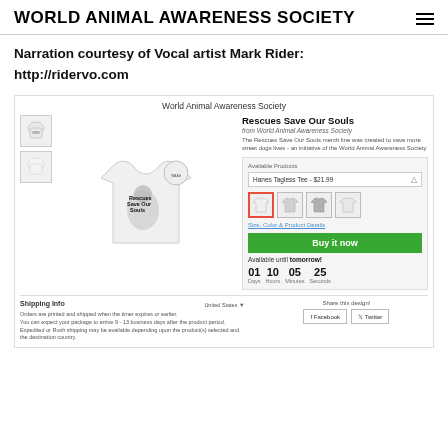WORLD ANIMAL AWARENESS SOCIETY
Narration courtesy of Vocal artist Mark Rider:
http://ridervo.com
[Figure (screenshot): Screenshot of a World Animal Awareness Society merchandise page showing a 'Rescues Save Our Souls' t-shirt with a dog graphic, product selection, countdown timer (01 Days, 10 Hours, 05 Minutes, 25 Seconds), Buy It Now button, shipping info, and social share buttons for Facebook and Twitter.]